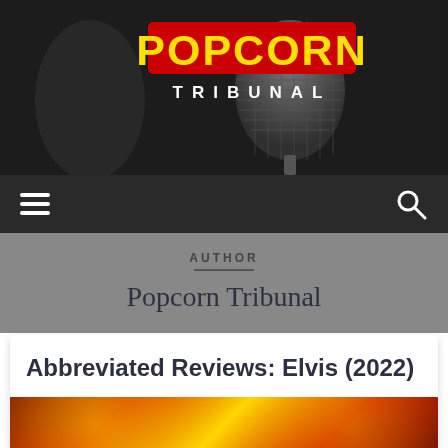[Figure (photo): Popcorn Tribunal website header banner with close-up black and white photo of a microphone in the background, featuring the POPCORN TRIBUNAL logo — POPCORN in bold yellow text on red background, TRIBUNAL in white spaced letters below]
POPCORN TRIBUNAL
AUTHOR
Popcorn Tribunal
Abbreviated Reviews: Elvis (2022)
[Figure (photo): Partial bottom strip showing colorful red and gold decorative image, likely from the Elvis (2022) movie]